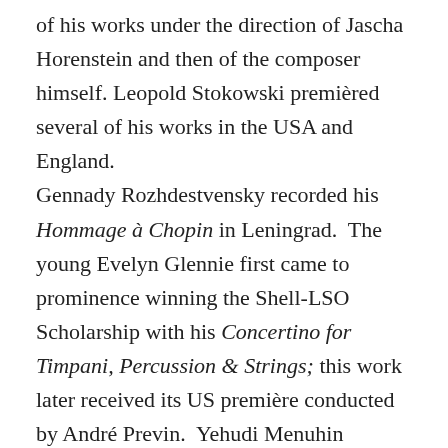of his works under the direction of Jascha Horenstein and then of the composer himself. Leopold Stokowski premièred several of his works in the USA and England. Gennady Rozhdestvensky recorded his Hommage à Chopin in Leningrad. The young Evelyn Glennie first came to prominence winning the Shell-LSO Scholarship with his Concertino for Timpani, Percussion & Strings; this work later received its US première conducted by André Previn. Yehudi Menuhin commissioned his Violin Concerto for the Windsor Festival and recorded it with Panufnik conducting. Mstislav Rostropovich premièred and recorded his Cello Concerto with the LSO, and the Royal Philharmonic Society commissioned his Ninth Symphony, which was premiered by the BBC.